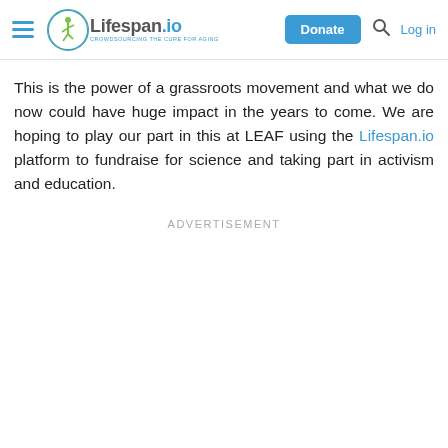Lifespan.io — Crowdsourcing the Cure for Aging | Donate | Log in
This is the power of a grassroots movement and what we do now could have huge impact in the years to come. We are hoping to play our part in this at LEAF using the Lifespan.io platform to fundraise for science and taking part in activism and education.
ADVERTISEMENT